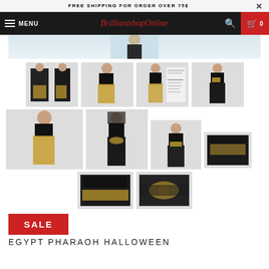FREE SHIPPING FOR ORDER OVER 75$
BrilliantshopOnline  MENU  0
[Figure (photo): E-commerce product page showing Egypt Pharaoh Halloween costume. Navigation bar with MENU, BrilliantshopOnline logo, search and cart icons. Grid of product thumbnail images showing models wearing a black and gold belly dancer/pharaoh costume from various angles. SALE badge in red.]
SALE
EGYPT PHARAOH HALLOWEEN